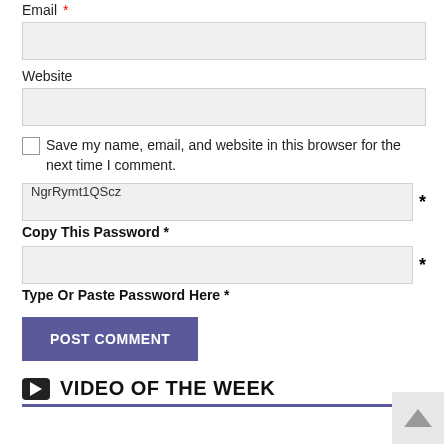Email *
Website
Save my name, email, and website in this browser for the next time I comment.
NgrRymt1QScz *
Copy This Password *
Type Or Paste Password Here *
POST COMMENT
VIDEO OF THE WEEK